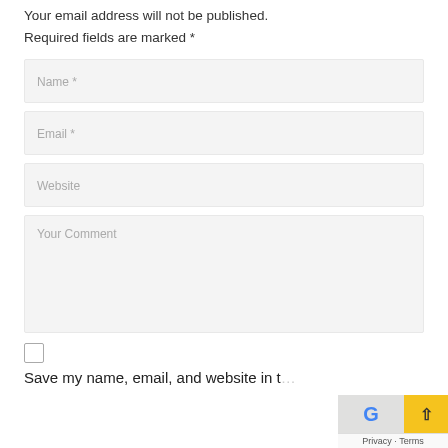Your email address will not be published.
Required fields are marked *
Name *
Email *
Website
Your Comment
Save my name, email, and website in t...